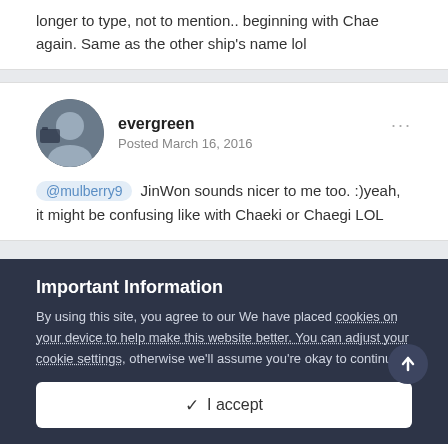longer to type, not to mention.. beginning with Chae again. Same as the other ship's name lol
evergreen
Posted March 16, 2016
@mulberry9 JinWon sounds nicer to me too. :)yeah, it might be confusing like with Chaeki or Chaegi LOL
Important Information
By using this site, you agree to our We have placed cookies on your device to help make this website better. You can adjust your cookie settings, otherwise we'll assume you're okay to continue..
✓ I accept